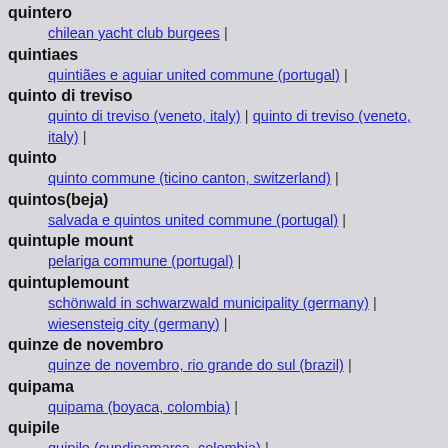quintero — chilean yacht club burgees |
quintiaes — quintiães e aguiar united commune (portugal) |
quinto di treviso — quinto di treviso (veneto, italy) | quinto di treviso (veneto, italy) |
quinto — quinto commune (ticino canton, switzerland) |
quintos(beja) — salvada e quintos united commune (portugal) |
quintuple mount — pelariga commune (portugal) |
quintuplemount — schönwald in schwarzwald municipality (germany) | wiesensteig city (germany) |
quinze de novembro — quinze de novembro, rio grande do sul (brazil) |
quipama — quipama (boyaca, colombia) |
quipile — quipile (cundinamarca, colombia) |
quirós — municipality of quirós (asturias, spain) |